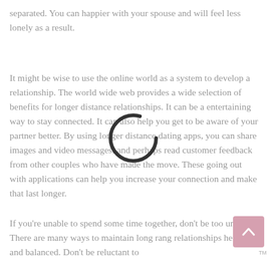separated. You can happier with your spouse and will feel less lonely as a result.
It might be wise to use the online world as a system to develop a relationship. The world wide web provides a wide selection of benefits for longer distance relationships. It can be a entertaining way to stay connected. It can also help you get to be aware of your partner better. By using longer distance dating apps, you can share images and video messages, and perhaps read customer feedback from other couples who have made the move. These going out with applications can help you increase your connection and make that last longer.
If you're unable to spend some time together, don't be too uneasy. There are many ways to maintain long range relationships healthy and balanced. Don't be reluctant to